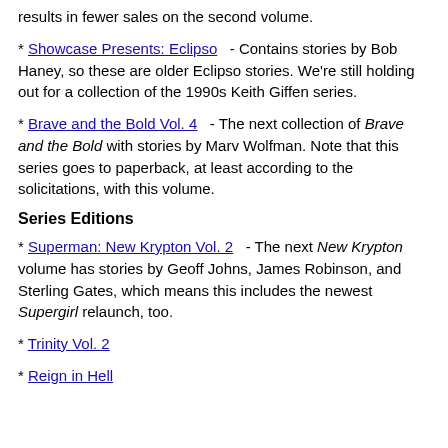results in fewer sales on the second volume.
* Showcase Presents: Eclipso - Contains stories by Bob Haney, so these are older Eclipso stories. We're still holding out for a collection of the 1990s Keith Giffen series.
* Brave and the Bold Vol. 4 - The next collection of Brave and the Bold with stories by Marv Wolfman. Note that this series goes to paperback, at least according to the solicitations, with this volume.
Series Editions
* Superman: New Krypton Vol. 2 - The next New Krypton volume has stories by Geoff Johns, James Robinson, and Sterling Gates, which means this includes the newest Supergirl relaunch, too.
* Trinity Vol. 2
* Reign in Hell